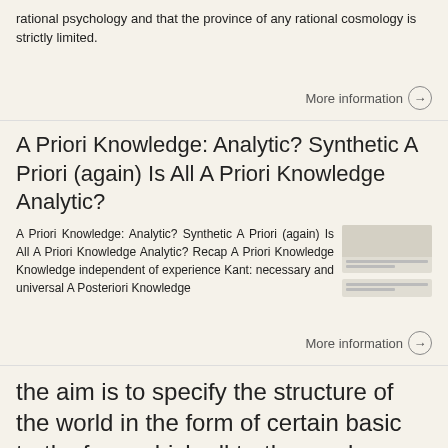rational psychology and that the province of any rational cosmology is strictly limited.
More information →
A Priori Knowledge: Analytic? Synthetic A Priori (again) Is All A Priori Knowledge Analytic?
A Priori Knowledge: Analytic? Synthetic A Priori (again) Is All A Priori Knowledge Analytic? Recap A Priori Knowledge Knowledge independent of experience Kant: necessary and universal A Posteriori Knowledge
More information →
the aim is to specify the structure of the world in the form of certain basic truths from which all truths can be derived. (xviii)